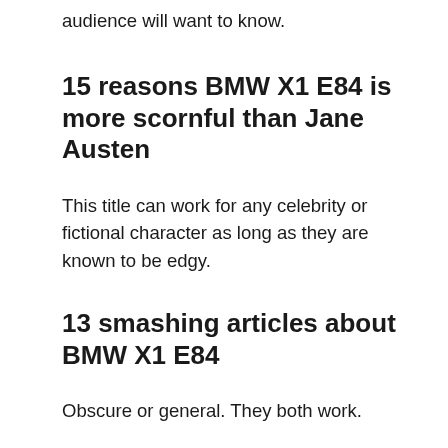audience will want to know.
15 reasons BMW X1 E84 is more scornful than Jane Austen
This title can work for any celebrity or fictional character as long as they are known to be edgy.
13 smashing articles about BMW X1 E84
Obscure or general. They both work.
If you read one article about